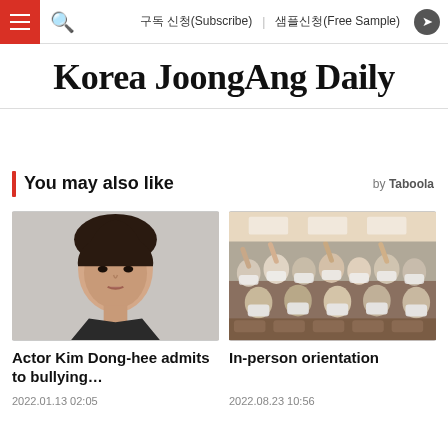구독 신청(Subscribe) | 샘플신청(Free Sample)
Korea JoongAng Daily
You may also like
[Figure (photo): Portrait photo of actor Kim Dong-hee]
[Figure (photo): Crowd of masked audience members applauding at an in-person orientation event]
Actor Kim Dong-hee admits to bullying…
In-person orientation
2022.01.13 02:05
2022.08.23 10:56